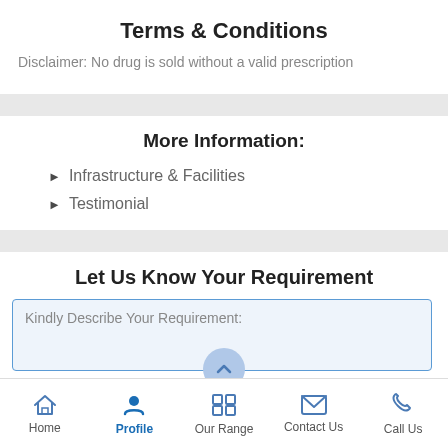Terms & Conditions
Disclaimer: No drug is sold without a valid prescription
More Information:
Infrastructure & Facilities
Testimonial
Let Us Know Your Requirement
Kindly Describe Your Requirement:
Home | Profile | Our Range | Contact Us | Call Us